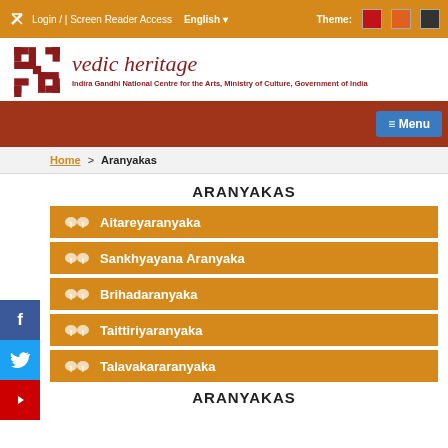Login / | Screen Reader Access   English   Theme:
[Figure (logo): Vedic Heritage logo with swastika symbol and text 'vedic heritage', subtitle: Indira Gandhi National Centre for the Arts, Ministry of Culture, Government of India]
≡ Menu
Home > Aranyakas
ARANYAKAS
Aitareyaranyaka
Sankhyayana Aranyaka
Brihadaranyaka
Taittiriyaranyaka
Talavakararanyaka
ARANYAKAS